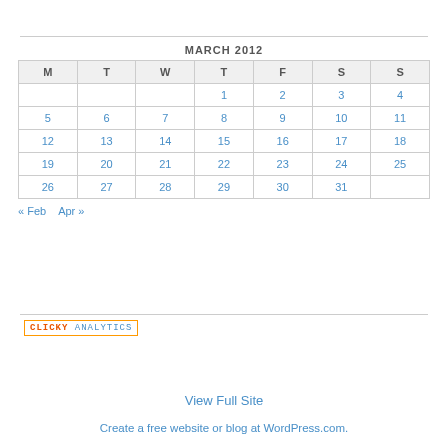MARCH 2012
| M | T | W | T | F | S | S |
| --- | --- | --- | --- | --- | --- | --- |
|  |  |  | 1 | 2 | 3 | 4 |
| 5 | 6 | 7 | 8 | 9 | 10 | 11 |
| 12 | 13 | 14 | 15 | 16 | 17 | 18 |
| 19 | 20 | 21 | 22 | 23 | 24 | 25 |
| 26 | 27 | 28 | 29 | 30 | 31 |  |
« Feb   Apr »
[Figure (logo): Clicky Analytics badge/logo]
View Full Site
Create a free website or blog at WordPress.com.